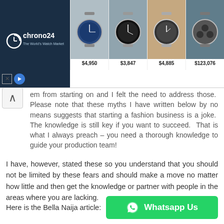[Figure (screenshot): Chrono24 watch advertisement banner showing logo and four watches with prices: $4,950, $3,847, $4,885, $123,076]
em from starting on and I felt the need to address those.  Please note that these myths I have written below by no means suggests that starting a fashion business is a joke.  The knowledge is still key if you want to succeed.  That is what I always preach – you need a thorough knowledge to guide your production team!
I have, however, stated these so you understand that you should not be limited by these fears and should make a move no matter how little and then get the knowledge or partner with people in the areas where you are lacking.
Here is the Bella Naija article:
[Figure (other): Green WhatsApp Us button with WhatsApp logo icon]